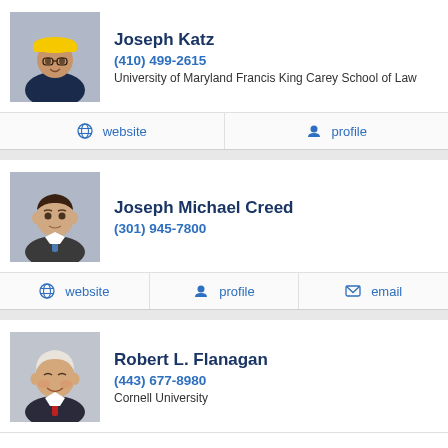[Figure (photo): Profile photo of Joseph Katz wearing a yellow hard hat and suit]
Joseph Katz
(410) 499-2615
University of Maryland Francis King Carey School of Law
website  profile
[Figure (photo): Profile photo of Joseph Michael Creed in a suit]
Joseph Michael Creed
(301) 945-7800
website  profile  email
[Figure (photo): Profile photo of Robert L. Flanagan in a suit]
Robert L. Flanagan
(443) 677-8980
Cornell University